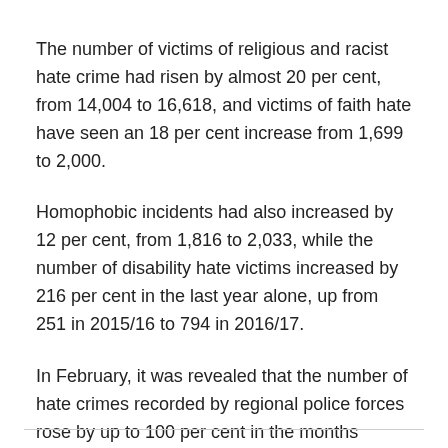The number of victims of religious and racist hate crime had risen by almost 20 per cent, from 14,004 to 16,618, and victims of faith hate have seen an 18 per cent increase from 1,699 to 2,000.
Homophobic incidents had also increased by 12 per cent, from 1,816 to 2,033, while the number of disability hate victims increased by 216 per cent in the last year alone, up from 251 in 2015/16 to 794 in 2016/17.
In February, it was revealed that the number of hate crimes recorded by regional police forces rose by up to 100 per cent in the months following the Brexit vote.
The Independent